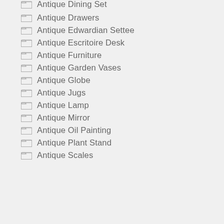Antique Dining Set
Antique Drawers
Antique Edwardian Settee
Antique Escritoire Desk
Antique Furniture
Antique Garden Vases
Antique Globe
Antique Jugs
Antique Lamp
Antique Mirror
Antique Oil Painting
Antique Plant Stand
Antique Scales